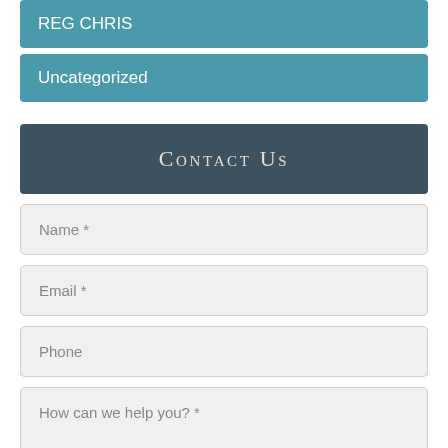REG CHRIS
Uncategorized
Contact Us
Name *
Email *
Phone
How can we help you? *